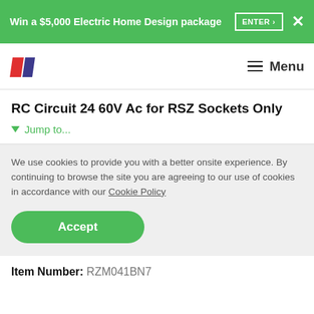Win a $5,000 Electric Home Design package  ENTER ›  ✕
[Figure (logo): HuffPost-style two-parallelogram logo in red and dark blue, with Menu hamburger navigation]
RC Circuit 24 60V Ac for RSZ Sockets Only
▼ Jump to...
We use cookies to provide you with a better onsite experience. By continuing to browse the site you are agreeing to our use of cookies in accordance with our Cookie Policy
Accept
Item Number: RZM041BN7